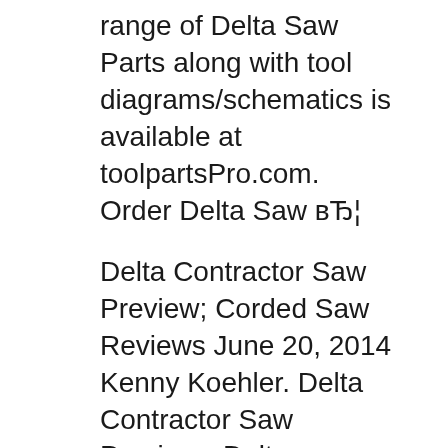range of Delta Saw Parts along with tool diagrams/schematics is available at toolpartsPro.com. Order Delta Saw вЂ¦
Delta Contractor Saw Preview; Corded Saw Reviews June 20, 2014 Kenny Koehler. Delta Contractor Saw Preview . Delta Contractors Saws Offer Power and Durability for Professionals. The new Delta Contractor Saws have us buzzing around with excitement! These four new 10 inch saws are built with professional use in mind and designed for the long haul. LetвЂ™s take a look at what Delta is offering Replacement Delta Table Saw Parts online. Tool Parts Direct has thousands of Table Saw Parts to fix Delta tools. Shop by parts or model